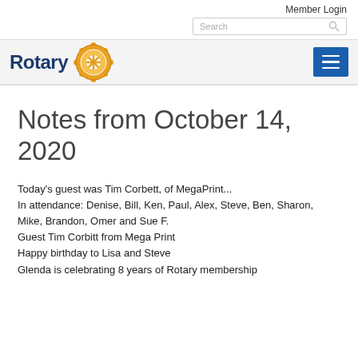Member Login
Notes from October 14, 2020
Today's guest was Tim Corbett, of MegaPrint...
In attendance: Denise, Bill, Ken, Paul, Alex, Steve, Ben, Sharon, Mike, Brandon, Omer and Sue F.
Guest Tim Corbitt from Mega Print
Happy birthday to Lisa and Steve
Glenda is celebrating 8 years of Rotary membership